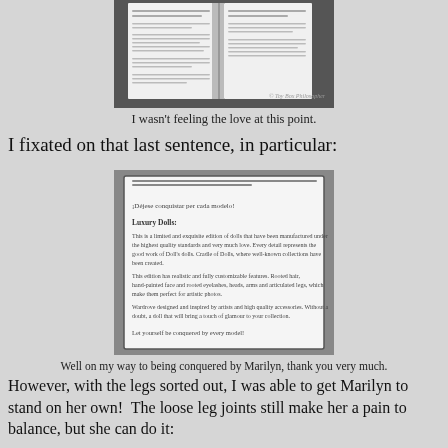[Figure (photo): Photo of an open book/booklet showing printed text pages, black and white, with watermark '© Toy Box Philosopher' in lower right]
I wasn't feeling the love at this point.
I fixated on that last sentence, in particular:
[Figure (photo): Close-up photo of a printed document page with text about Luxury Dolls, describing hand-crafted dolls with rooted hair and articulated features]
Well on my way to being conquered by Marilyn, thank you very much.
However, with the legs sorted out, I was able to get Marilyn to stand on her own!  The loose leg joints still make her a pain to balance, but she can do it: